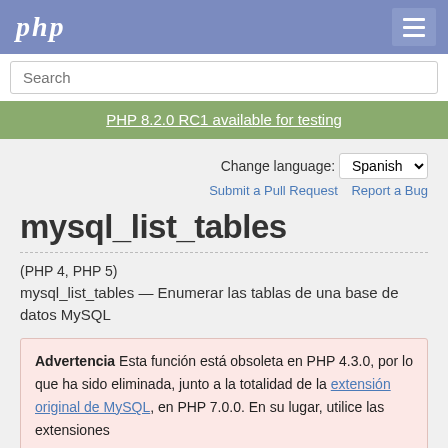php
Search
PHP 8.2.0 RC1 available for testing
Change language: Spanish
Submit a Pull Request   Report a Bug
mysql_list_tables
(PHP 4, PHP 5)
mysql_list_tables — Enumerar las tablas de una base de datos MySQL
Advertencia Esta función está obsoleta en PHP 4.3.0, por lo que ha sido eliminada, junto a la totalidad de la extensión original de MySQL, en PHP 7.0.0. En su lugar, utilice las extensiones